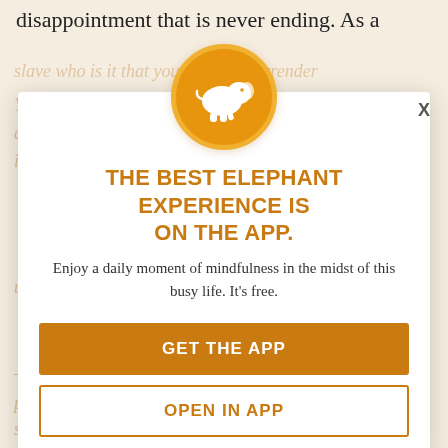disappointment that is never ending. As a
[Figure (logo): Orange circle with white elephant silhouette — Elephant app logo]
THE BEST ELEPHANT EXPERIENCE IS ON THE APP.
Enjoy a daily moment of mindfulness in the midst of this busy life. It's free.
GET THE APP
OPEN IN APP